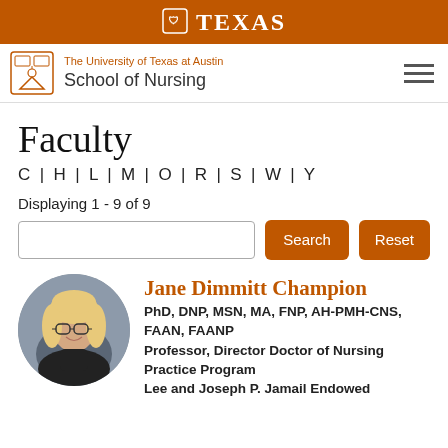TEXAS
The University of Texas at Austin School of Nursing
Faculty
C | H | L | M | O | R | S | W | Y
Displaying 1 - 9 of 9
[Figure (screenshot): Search input box with Search and Reset buttons]
[Figure (photo): Circular headshot of Jane Dimmitt Champion, a woman with blonde hair and glasses wearing a dark top]
Jane Dimmitt Champion PhD, DNP, MSN, MA, FNP, AH-PMH-CNS, FAAN, FAANP Professor, Director Doctor of Nursing Practice Program Lee and Joseph P. Jamail Endowed